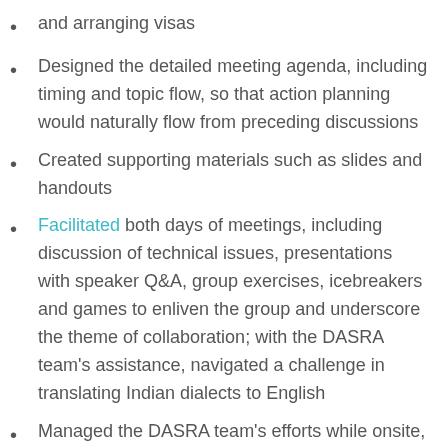and arranging visas
Designed the detailed meeting agenda, including timing and topic flow, so that action planning would naturally flow from preceding discussions
Created supporting materials such as slides and handouts
Facilitated both days of meetings, including discussion of technical issues, presentations with speaker Q&A, group exercises, icebreakers and games to enliven the group and underscore the theme of collaboration; with the DASRA team's assistance, navigated a challenge in translating Indian dialects to English
Managed the DASRA team's efforts while onsite, for a smooth meeting delivery
Prepared the final conference report, capturing all